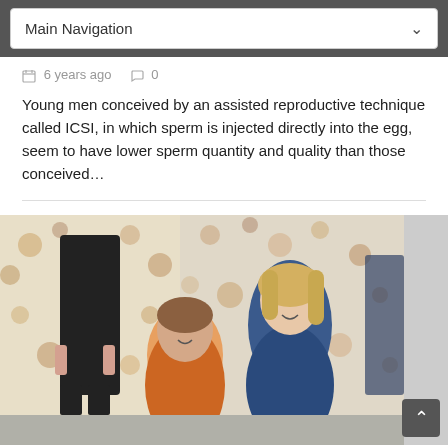Main Navigation
6 years ago   0
Young men conceived by an assisted reproductive technique called ICSI, in which sperm is injected directly into the egg, seem to have lower sperm quantity and quality than those conceived…
[Figure (photo): Two women smiling together in front of artwork on gallery walls; one woman has Down syndrome and is wearing an orange jacket, the other is a blonde woman wearing a blue jacket.]